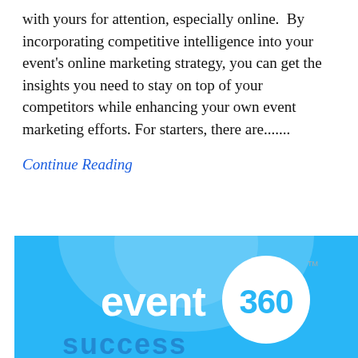with yours for attention, especially online.  By incorporating competitive intelligence into your event's online marketing strategy, you can get the insights you need to stay on top of your competitors while enhancing your own event marketing efforts. For starters, there are.......
Continue Reading
[Figure (other): Dark blue circular date badge showing 'JUL 14 2010' in white bold text, overlapping a light blue image banner for 'event 360' with a white circle logo]
[Figure (photo): Light blue promotional image for 'event 360' with white circle badge containing '360' text, and a spotlight/glow effect, partially showing additional text at the bottom]